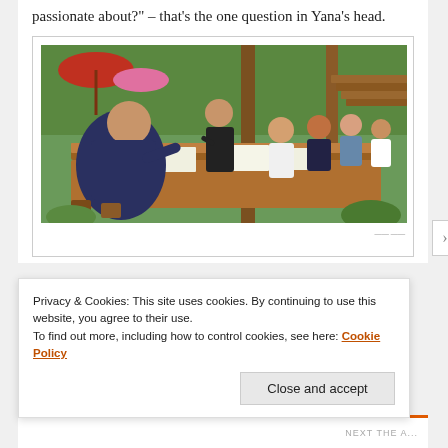passionate about?" – that's the one question in Yana's head.
[Figure (photo): Group of people sitting around a long wooden table outdoors in a tropical setting, engaged in an art class. A woman in black stands and instructs. Lush greenery and wooden structures visible in background.]
Privacy & Cookies: This site uses cookies. By continuing to use this website, you agree to their use.
To find out more, including how to control cookies, see here: Cookie Policy
Close and accept